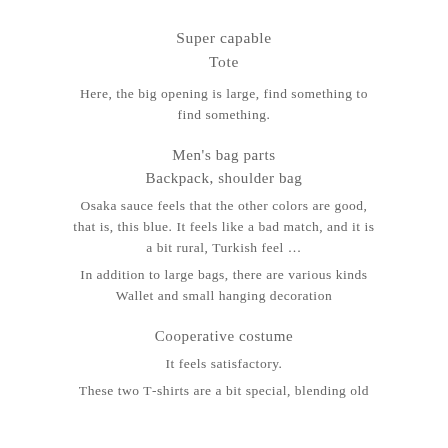Super capable
Tote
Here, the big opening is large, find something to find something.
Men's bag parts
Backpack, shoulder bag
Osaka sauce feels that the other colors are good, that is, this blue. It feels like a bad match, and it is a bit rural, Turkish feel …
In addition to large bags, there are various kinds
Wallet and small hanging decoration
Cooperative costume
It feels satisfactory.
These two T‑shirts are a bit special, blending old